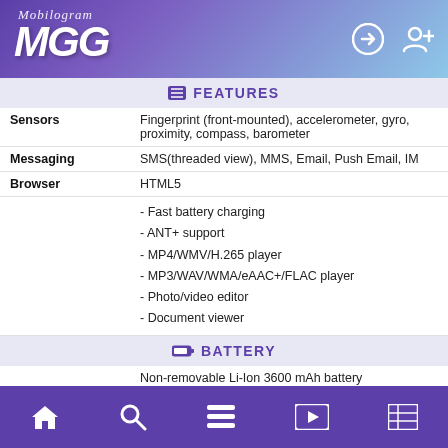MGC Mobilogram
FEATURES
| Feature | Value |
| --- | --- |
| Sensors | Fingerprint (front-mounted), accelerometer, gyro, proximity, compass, barometer |
| Messaging | SMS(threaded view), MMS, Email, Push Email, IM |
| Browser | HTML5 |
|  | - Fast battery charging
- ANT+ support
- MP4/WMV/H.265 player
- MP3/WAV/WMA/eAAC+/FLAC player
- Photo/video editor
- Document viewer |
BATTERY
| Feature | Value |
| --- | --- |
|  | Non-removable Li-Ion 3600 mAh battery |
| Music play | Up to 59 h |
| Talk time | Up to 23 h (3G) |
MISC
Home Search List Video News